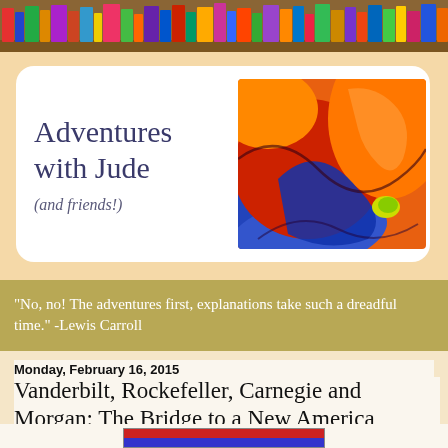[Figure (illustration): Colorful bookshelf banner at top of page with books of various colors]
Adventures with Jude (and friends!)
[Figure (illustration): Abstract colorful illustration with orange, red, and blue swirling shapes]
“No, no! The adventures first, explanations take such a dreadful time.” -Lewis Carroll
Monday, February 16, 2015
Vanderbilt, Rockefeller, Carnegie and Morgan: The Bridge to a New America
[Figure (illustration): Bottom portion of a book cover with red and blue stripes visible]